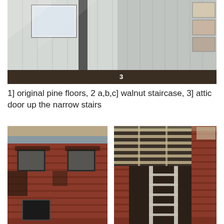[Figure (photo): Interior photo showing white/grey paneled walls with a dark door or hatch, sunlight casting shadows, and framed pictures on wall at right side. Number '3' visible in lower center.]
1] original pine floors, 2 a,b,c] walnut staircase, 3] attic door up the narrow stairs
[Figure (photo): Exterior photo of a red brick building with multiple windows, showing fire or renovation damage with missing sections and exposed framing.]
[Figure (photo): Interior photo showing exposed ceiling joists/rafters looking up, brick walls, and what appears to be a ladder or scaffolding structure inside a gutted building.]